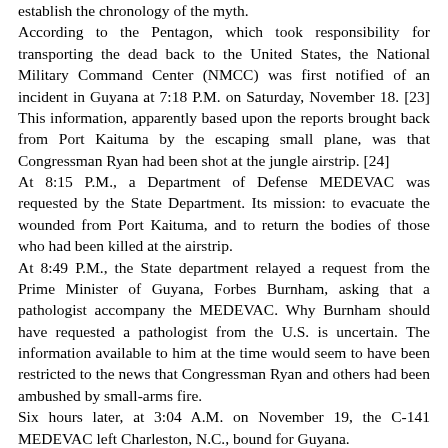establish the chronology of the myth. According to the Pentagon, which took responsibility for transporting the dead back to the United States, the National Military Command Center (NMCC) was first notified of an incident in Guyana at 7:18 P.M. on Saturday, November 18. [23] This information, apparently based upon the reports brought back from Port Kaituma by the escaping small plane, was that Congressman Ryan had been shot at the jungle airstrip. [24] At 8:15 P.M., a Department of Defense MEDEVAC was requested by the State Department. Its mission: to evacuate the wounded from Port Kaituma, and to return the bodies of those who had been killed at the airstrip. At 8:49 P.M., the State department relayed a request from the Prime Minister of Guyana, Forbes Burnham, asking that a pathologist accompany the MEDEVAC. Why Burnham should have requested a pathologist from the U.S. is uncertain. The information available to him at the time would seem to have been restricted to the news that Congressman Ryan and others had been ambushed by small-arms fire. Six hours later, at 3:04 A.M. on November 19, the C-141 MEDEVAC left Charleston, N.C., bound for Guyana.